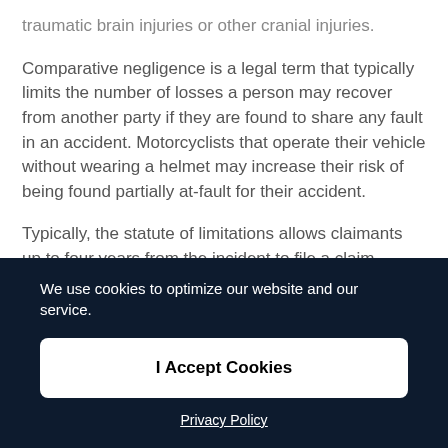traumatic brain injuries or other cranial injuries.
Comparative negligence is a legal term that typically limits the number of losses a person may recover from another party if they are found to share any fault in an accident. Motorcyclists that operate their vehicle without wearing a helmet may increase their risk of being found partially at-fault for their accident.
Typically, the statute of limitations allows claimants up to four years from the incident to file a claim against a potentially
We use cookies to optimize our website and our service.
I Accept Cookies
Privacy Policy